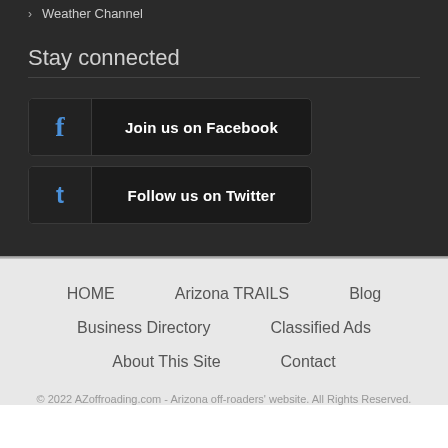Weather Channel
Stay connected
[Figure (infographic): Facebook social button: icon box with 'f' logo and label 'Join us on Facebook']
[Figure (infographic): Twitter social button: icon box with 't' bird logo and label 'Follow us on Twitter']
HOME     Arizona TRAILS     Blog
Business Directory     Classified Ads
About This Site     Contact
© 2022 AZoffroading.com - Arizona off-roaders' website. All Rights Reserved.